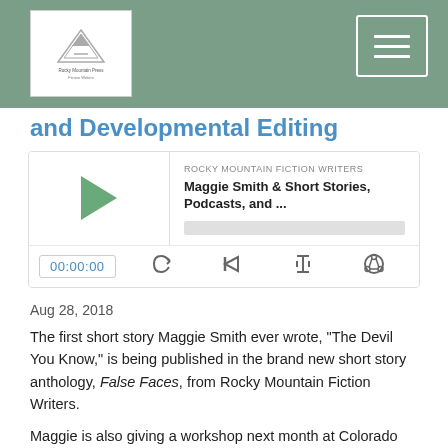[Figure (logo): Rocky Mountain Fiction Writers logo with mountain graphic in white box, and hamburger menu icon in top right]
and Developmental Editing
[Figure (screenshot): Podcast player widget showing 'ROCKY MOUNTAIN FICTION WRITERS' source, episode title 'Maggie Smith & Short Stories, Podcasts, and ...', play button, progress bar, time 00:00:00, and control icons]
Aug 28, 2018
The first short story Maggie Smith ever wrote, "The Devil You Know," is being published in the brand new short story anthology, False Faces, from Rocky Mountain Fiction Writers.
Maggie is also giving a workshop next month at Colorado Gold—How to Get the Most out of A Developmental Edit.
In addition, Maggie has a...
Read More